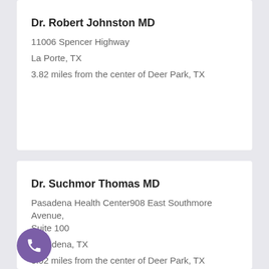Dr. Robert Johnston MD
11006 Spencer Highway
La Porte, TX
3.82 miles from the center of Deer Park, TX
Dr. Suchmor Thomas MD
Pasadena Health Center908 East Southmore Avenue, Suite 100
Pasadena, TX
3.92 miles from the center of Deer Park, TX
[Figure (illustration): Purple circular phone call button icon in bottom left corner]